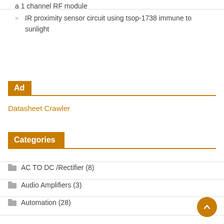a 1 channel RF module
IR proximity sensor circuit using tsop-1738 immune to sunlight
Ad
Datasheet Crawler
Categories
AC TO DC /Rectifier (8)
Audio Amplifiers (3)
Automation (28)